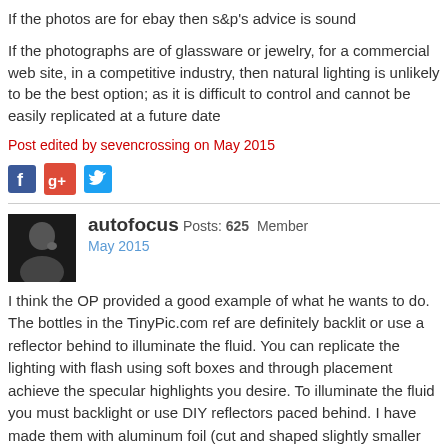If the photos are for ebay then s&p's advice is sound
If the photographs are of glassware or jewelry, for a commercial web site, in a competitive industry, then natural lighting is unlikely to be the best option; as it is difficult to control and cannot be easily replicated at a future date
Post edited by sevencrossing on May 2015
[Figure (other): Social sharing icons: Facebook, Google+, Twitter]
autofocus Posts: 625  Member
May 2015
I think the OP provided a good example of what he wants to do. The bottles in the TinyPic.com ref are definitely backlit or use a reflector behind to illuminate the fluid. You can replicate the lighting with flash using soft boxes and through placement achieve the specular highlights you desire. To illuminate the fluid you must backlight or use DIY reflectors paced behind. I have made them with aluminum foil (cut and shaped slightly smaller than the bottle, then placed directly behind so not seen by the camera) and it works quite well. I've also used a sheet of glass and up-lighted clear bottles with